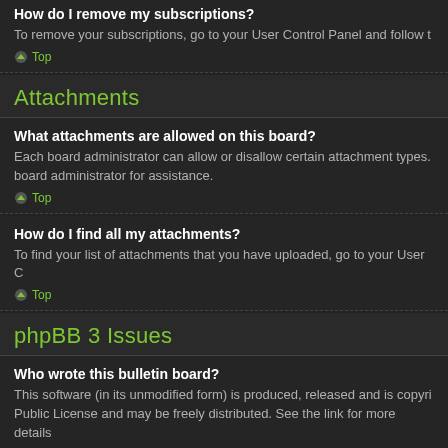How do I remove my subscriptions?
To remove your subscriptions, go to your User Control Panel and follow t
Top
Attachments
What attachments are allowed on this board?
Each board administrator can allow or disallow certain attachment types. board administrator for assistance.
Top
How do I find all my attachments?
To find your list of attachments that you have uploaded, go to your User C
Top
phpBB 3 Issues
Who wrote this bulletin board?
This software (in its unmodified form) is produced, released and is copyri Public License and may be freely distributed. See the link for more details
Top
Why isn't X feature available?